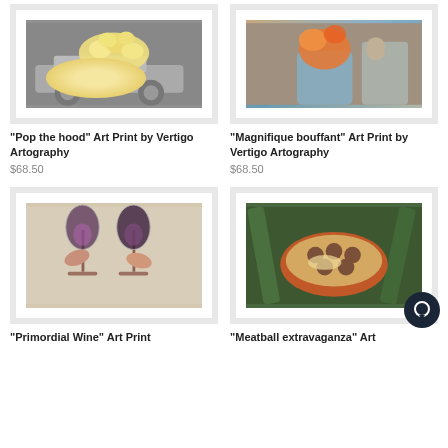[Figure (photo): Black and white photo of a car with popcorn overflowing from the hood, framed print]
"Pop the hood" Art Print by Vertigo Artography
$68.50
[Figure (photo): Surreal collage art print showing a figure with an explosion for a head, framed print]
"Magnifique bouffant" Art Print by Vertigo Artography
$68.50
[Figure (photo): Two wine glasses clinking with glittery contents, framed print]
"Primordial Wine" Art Print
[Figure (photo): Surreal art print showing a small figurine reclining in a casserole dish with meatballs, surrounded by tropical leaves]
"Meatball extravaganza" Art